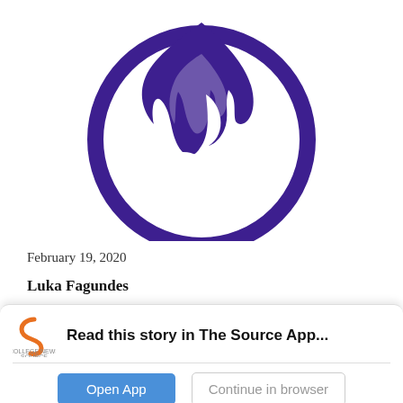[Figure (logo): College News Source logo — purple circular emblem with flame and 'CS' letters]
February 19, 2020
Luka Fagundes
[Figure (logo): College News Source app icon — small orange/grey 'S' logo with text 'COLLEGE NEWS SOURCE']
Read this story in The Source App...
Open App
Continue in browser